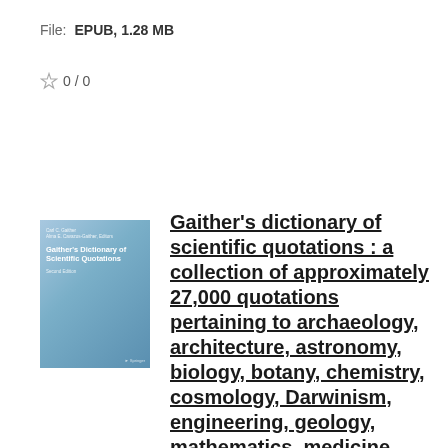Language: English
File: EPUB, 1.28 MB
0 / 0
[Figure (illustration): Book cover of Gaither's Dictionary of Scientific Quotations, Second Edition, published by Springer. Blue gradient cover with title in white text.]
Gaither's dictionary of scientific quotations : a collection of approximately 27,000 quotations pertaining to archaeology, architecture, astronomy, biology, botany, chemistry, cosmology, Darwinism, engineering, geology, mathematics, medicine, nature, nurs
Springer